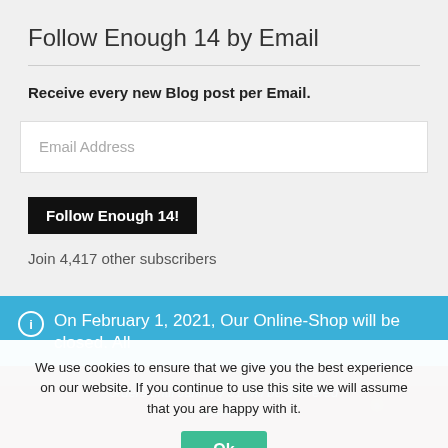Follow Enough 14 by Email
Receive every new Blog post per Email.
Email Address
Follow Enough 14!
Join 4,417 other subscribers
On February 1, 2021, Our Online-Shop will be closed. All orders until January 31 will be delivered
Dismiss
We use cookies to ensure that we give you the best experience on our website. If you continue to use this site we will assume that you are happy with it.
Ok